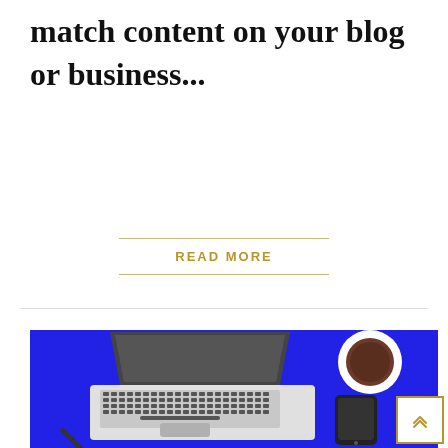match content on your blog or business...
READ MORE
[Figure (illustration): Top-down flat illustration of a laptop, coffee cup on saucer, pencil, and smartphone on a blue background]